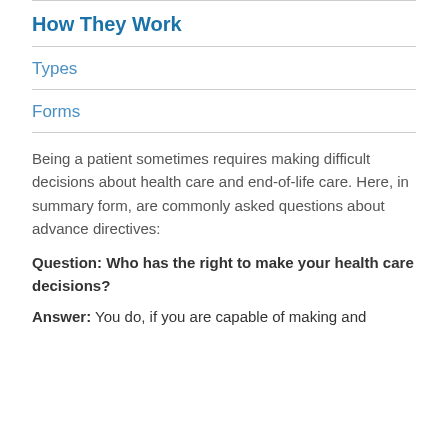How They Work
Types
Forms
Being a patient sometimes requires making difficult decisions about health care and end-of-life care. Here, in summary form, are commonly asked questions about advance directives:
Question: Who has the right to make your health care decisions?
Answer: You do, if you are capable of making and